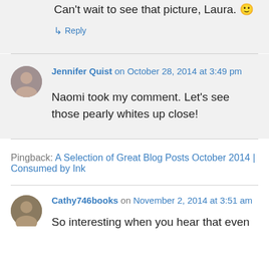Can't wait to see that picture, Laura. 😊
↳ Reply
Jennifer Quist on October 28, 2014 at 3:49 pm
Naomi took my comment. Let's see those pearly whites up close!
Pingback: A Selection of Great Blog Posts October 2014 | Consumed by Ink
Cathy746books on November 2, 2014 at 3:51 am
So interesting when you hear that even